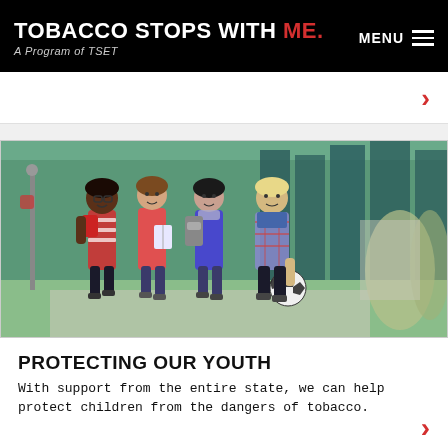TOBACCO STOPS WITH ME. A Program of TSET | MENU
[Figure (photo): Four young teenagers walking together on a sidewalk outdoors, smiling. One girl with glasses and a red bag, one girl in a pink jacket, one girl in blue, and one boy in a plaid shirt holding a soccer ball.]
PROTECTING OUR YOUTH
With support from the entire state, we can help protect children from the dangers of tobacco.